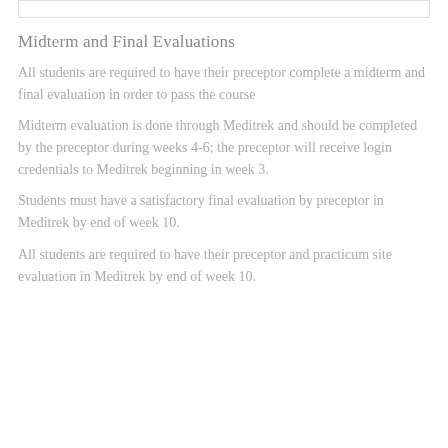Midterm and Final Evaluations
All students are required to have their preceptor complete a midterm and final evaluation in order to pass the course
Midterm evaluation is done through Meditrek and should be completed by the preceptor during weeks 4-6; the preceptor will receive login credentials to Meditrek beginning in week 3.
Students must have a satisfactory final evaluation by preceptor in Meditrek by end of week 10.
All students are required to have their preceptor and practicum site evaluation in Meditrek by end of week 10.